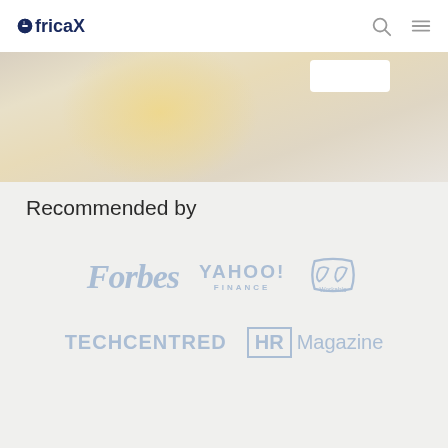AfricaX
[Figure (photo): Hero banner with warm golden light overlay and white card element]
Recommended by
[Figure (logo): Forbes logo in light blue]
[Figure (logo): Yahoo Finance logo in light blue]
[Figure (logo): W (Workable) logo in light blue]
[Figure (logo): TECHCENTRED logo in light blue]
[Figure (logo): HR Magazine logo in light blue]